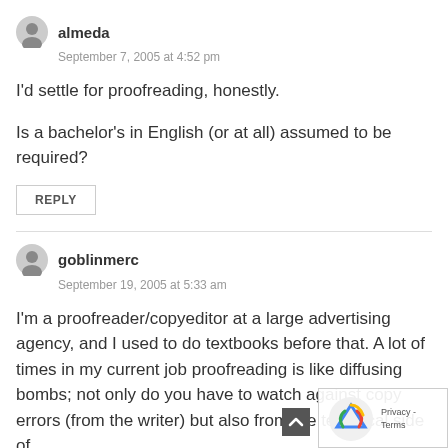almeda
September 7, 2005 at 4:52 pm
I'd settle for proofreading, honestly.

Is a bachelor's in English (or at all) assumed to be required?
REPLY
goblinmerc
September 19, 2005 at 5:33 am
I'm a proofreader/copyeditor at a large advertising agency, and I used to do textbooks before that. A lot of times in my current job proofreading is like diffusing bombs; not only do you have to watch against copy errors (from the writer) but also from the technical side of